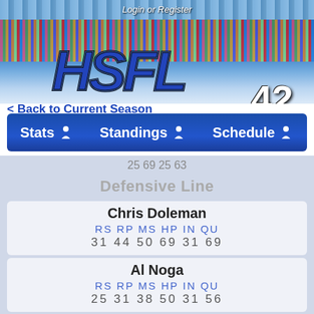[Figure (screenshot): HSFL season 42 game website banner with stadium crowd graphic, mascot illustration, and HSFL logo]
Login or Register
< Back to Current Season
Stats   Standings   Schedule
25 69 25 63
Defensive Line
| Player | RS | RP | MS | HP | IN | QU |
| --- | --- | --- | --- | --- | --- | --- |
| Chris Doleman | 31 | 44 | 50 | 69 | 31 | 69 |
| Al Noga | 25 | 31 | 38 | 50 | 31 | 56 |
| Henry Thomas |  |  |  |  |  |  |